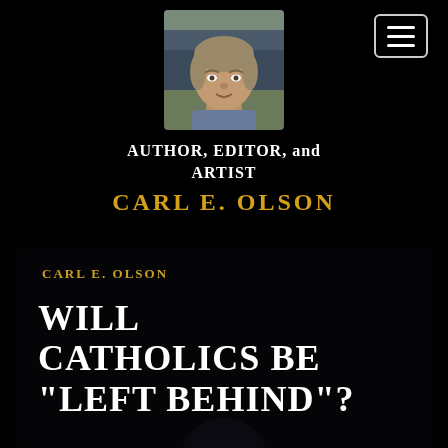[Figure (photo): Headshot photo of a middle-aged man with gray-blond hair wearing a blue shirt, outdoors]
[Figure (other): Navigation menu button (hamburger icon) with three horizontal lines inside a rounded rectangle border]
AUTHOR, EDITOR, and ARTIST
CARL E. OLSON
[Figure (photo): Book cover for 'Will Catholics Be Left Behind?' by Carl E. Olson. Dark background with large white serif text for the title and gold text for the author name. An eclipse image (glowing white light around a dark circular object) appears at the bottom.]